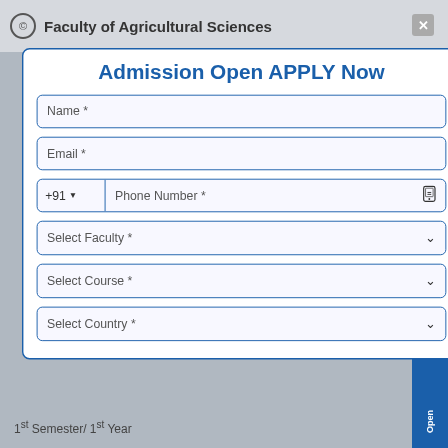Faculty of Agricultural Sciences
Admission Open APPLY Now
Name *
Email *
+91  Phone Number *
Select Faculty *
Select Course *
Select Country *
Admissions Open 2022 - 23
1st Semester/ 1st Year